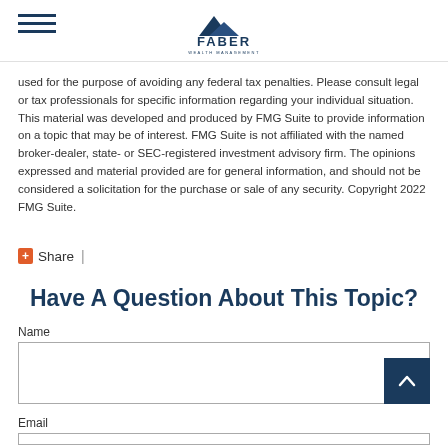Faber Wealth Management
used for the purpose of avoiding any federal tax penalties. Please consult legal or tax professionals for specific information regarding your individual situation. This material was developed and produced by FMG Suite to provide information on a topic that may be of interest. FMG Suite is not affiliated with the named broker-dealer, state- or SEC-registered investment advisory firm. The opinions expressed and material provided are for general information, and should not be considered a solicitation for the purchase or sale of any security. Copyright 2022 FMG Suite.
Share |
Have A Question About This Topic?
Name
Email